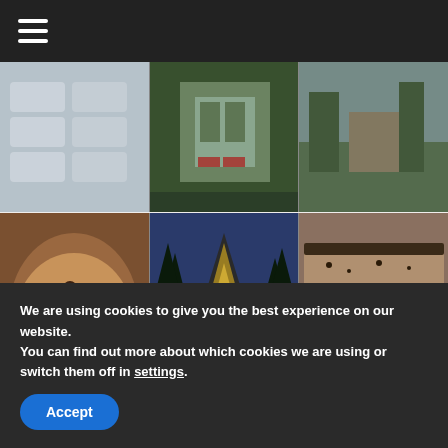≡ (hamburger menu / navigation bar)
[Figure (photo): Top row of three photos: left - baked squares/bars on a surface (light blue-gray tones), center - A-frame style building with red doors and glass facade, right - outdoor garden/walkway scene with trees]
[Figure (photo): Bottom row of three photos: left - sliced chocolate chip bread/cake loaf with caption 'chocolate chip', center - A-frame cabin house at dusk with triangular glass facade and tall pine trees, right - sliced chocolate-covered granola bars or similar baked goods]
chocolate chip
See on Pinterest
We are using cookies to give you the best experience on our website.
You can find out more about which cookies we are using or switch them off in settings.
Accept